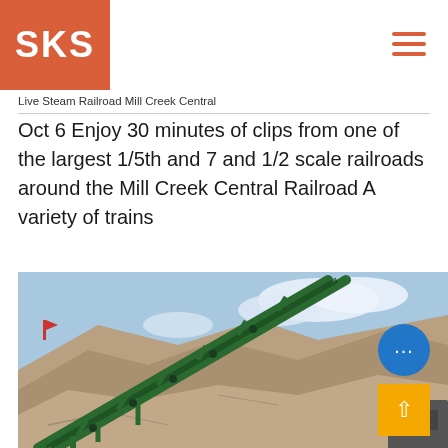SKS
Live Steam Railroad Mill Creek Central
Oct 6 Enjoy 30 minutes of clips from one of the largest 1/5th and 7 and 1/2 scale railroads around the Mill Creek Central Railroad A variety of trains
[Figure (photo): Industrial conveyor belt structure over a gravel/sand mound with blue sky background. A green steel conveyor frame rises diagonally from lower left to upper right over large piles of gravel or sand. There is a yellow scroll-to-top button and a blue chat bubble button overlaid in the lower-right corner.]